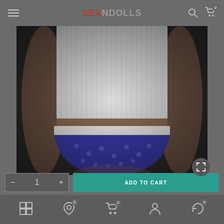SEXNDOLLS - e-commerce product page header with hamburger menu, logo, search and cart icons
[Figure (photo): Close-up product photo of a doll/mannequin torso wearing a white ribbed top and blue polka-dot underwear/bikini bottom against a dark background]
ADD TO CART
Bottom navigation bar with grid/menu icon, location/wishlist icon (badge 0), cart icon (badge 0), account icon, and refresh/orders icon (badge 0)